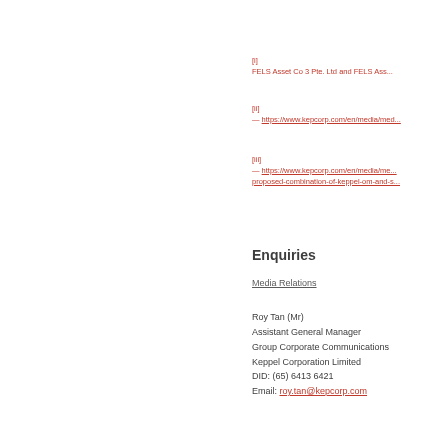[i] FELS Asset Co 3 Pte. Ltd and FELS As...
[ii] — https://www.kepcorp.com/en/media/me...
[iii] — https://www.kepcorp.com/en/media/me... proposed-combination-of-keppel-om-and-s...
Enquiries
Media Relations
Roy Tan (Mr)
Assistant General Manager
Group Corporate Communications
Keppel Corporation Limited
DID: (65) 6413 6421
Email: roy.tan@kepcorp.com